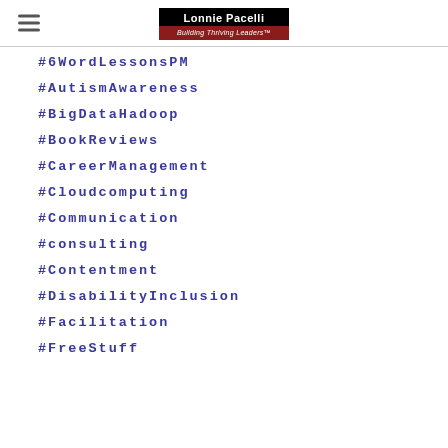Lonnie Pacelli — Building Thriving Leaders
#6WordLessonsPM
#AutismAwareness
#BigDataHadoop
#BookReviews
#CareerManagement
#Cloudcomputing
#Communication
#consulting
#Contentment
#DisabilityInclusion
#Facilitation
#FreeStuff